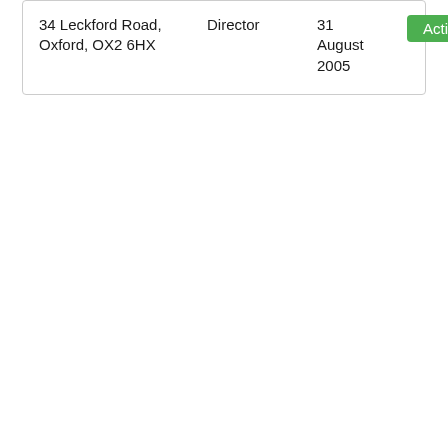| Address | Role | Date | Status |
| --- | --- | --- | --- |
| 34 Leckford Road, Oxford, OX2 6HX | Director | 31 August 2005 | Active |